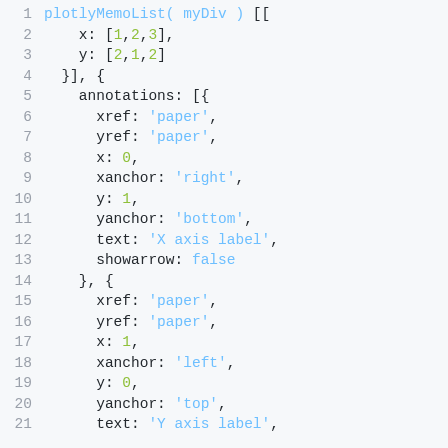[Figure (screenshot): Code snippet showing a Plotly chart configuration with annotations in JavaScript/JSON format, lines 1–21. Line numbers shown in grey on the left. Syntax-highlighted: strings in blue, numbers/false in yellow-green, punctuation in dark.]